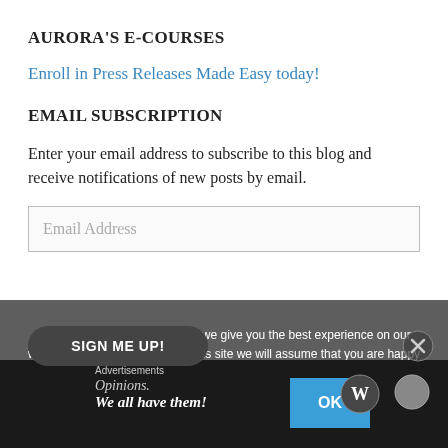AURORA'S E-COURSES
Enroll in Press Releases Made Easy today!
EMAIL SUBSCRIPTION
Enter your email address to subscribe to this blog and receive notifications of new posts by email.
[Figure (screenshot): Email address input field with placeholder text 'Email Address']
We use cookies to ensure that we give you the best experience on our website. If you continue to use this site we will assume that you are happy with it.
SIGN ME UP!
Advertisements
[Figure (infographic): Advertisement banner: 'Opinions. We all have them!' with OK button and WordPress logo]